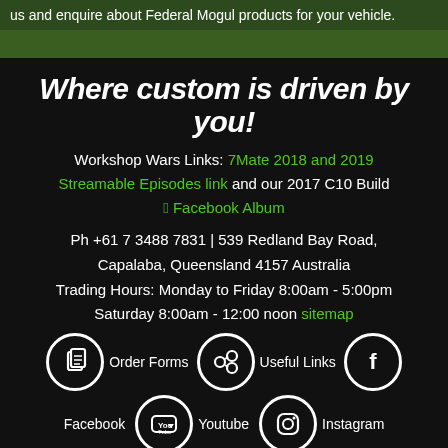us and enquire about Federal Mogul products for your vehicle.
Where custom is driven by you!
Workshop Wars Links: 7Mate 2018 and 2019 Streamable Episodes link and our 2017 C10 Build Facebook Album
Ph +61 7 3488 7831 | 539 Redland Bay Road, Capalaba, Queensland 4157 Australia Trading Hours: Monday to Friday 8:00am - 5:00pm Saturday 8:00am - 12:00 noon sitemap
[Figure (infographic): Social media and navigation icons row: Order Forms (clipboard icon), Useful Links (chain icon), Facebook (f icon), Youtube (play icon), Instagram (camera icon)]